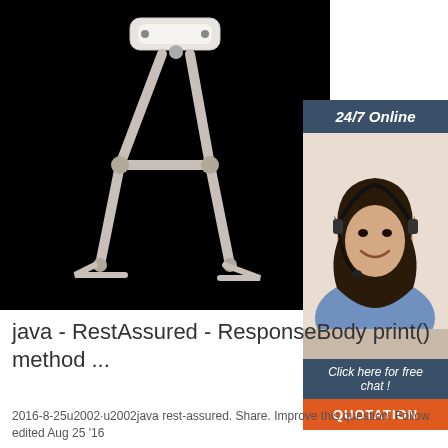[Figure (photo): A mechanical door closer device with metal arm linkage, photographed against a black background]
[Figure (photo): Advertisement banner: 24/7 Online support with woman wearing headset headphone, Click here for free chat, QUOTATION button]
java - RestAssured - ResponseBody print() method ...
2016-8-25u2002·u2002java rest-assured. Share. Improve this question. Follow edited Aug 25 '16